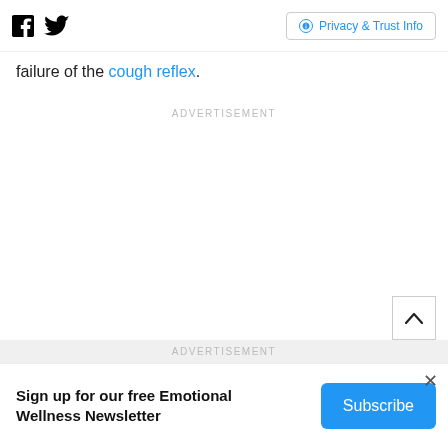Facebook Twitter | Privacy & Trust Info
failure of the cough reflex.
ADVERTISEMENT
ADVERTISEMENT
Sign up for our free Emotional Wellness Newsletter